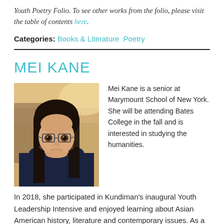Youth Poetry Folio. To see other works from the folio, please visit the table of contents here.
Categories: Books & Literature  Poetry
MEI KANE
[Figure (photo): Portrait photo of Mei Kane, a young Asian woman with long dark hair and glasses, smiling, wearing a dark sweater, indoor background with warm lighting.]
Mei Kane is a senior at Marymount School of New York. She will be attending Bates College in the fall and is interested in studying the humanities. In 2018, she participated in Kundiman's inaugural Youth Leadership Intensive and enjoyed learning about Asian American history, literature and contemporary issues. As a Chinese adoptee and avid writer, she is interested in working with nonprofits on in the